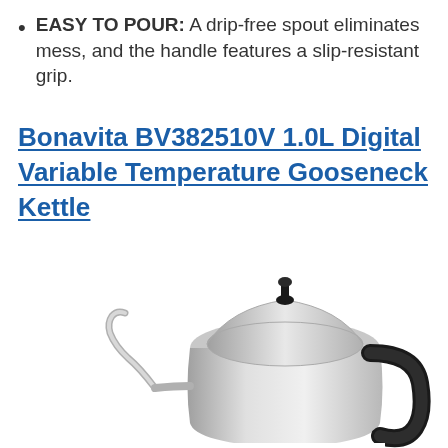EASY TO POUR: A drip-free spout eliminates mess, and the handle features a slip-resistant grip.
Bonavita BV382510V 1.0L Digital Variable Temperature Gooseneck Kettle
[Figure (photo): Photo of a Bonavita BV382510V 1.0L Digital Variable Temperature Gooseneck Kettle — a stainless steel kettle with a long curved gooseneck spout on the left and a black ergonomic handle on the right, with a black knob on top of the lid.]